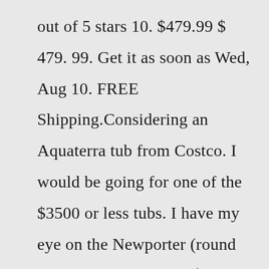out of 5 stars 10. $479.99 $ 479. 99. Get it as soon as Wed, Aug 10. FREE Shipping.Considering an Aquaterra tub from Costco. I would be going for one of the $3500 or less tubs. I have my eye on the Newporter (round tub) because it is only $2200 right now. I know Watkins makes Aquaterra and that is re-assuring. I have read a couple reviews of people stating that the Aquaterra tubs are noisy. The sale price